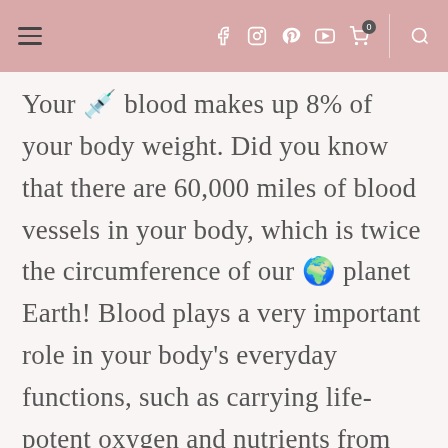Navigation bar with hamburger menu, social icons (Facebook, Instagram, Pinterest, YouTube), cart (0), and search
Your 💉 blood makes up 8% of your body weight. Did you know that there are 60,000 miles of blood vessels in your body, which is twice the circumference of our 🌍 planet Earth! Blood plays a very important role in your body's everyday functions, such as carrying life-potent oxygen and nutrients from your ❤️ heart to other parts of the body. Blood also maintains the